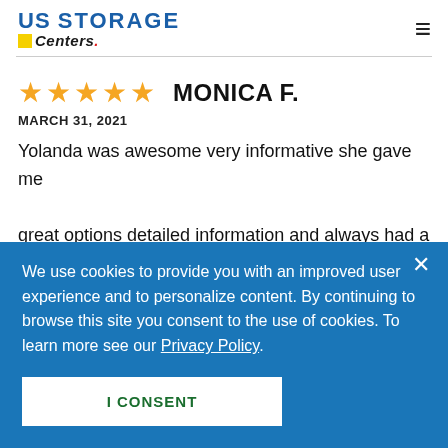[Figure (logo): US Storage Centers logo with blue and red text and yellow square accent]
MONICA F.
MARCH 31, 2021
Yolanda was awesome very informative she gave me great options detailed information and always had a
We use cookies to provide you with an improved user experience and to personalize content. By continuing to browse this site you consent to the use of cookies. To learn more see our Privacy Policy.
I CONSENT